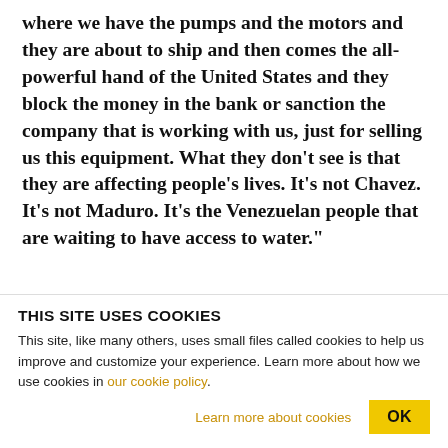where we have the pumps and the motors and they are about to ship and then comes the all-powerful hand of the United States and they block the money in the bank or sanction the company that is working with us, just for selling us this equipment. What they don't see is that they are affecting people's lives. It's not Chavez. It's not Maduro. It's the Venezuelan people that are waiting to have access to water."
They have come up with short-term solutions to the
THIS SITE USES COOKIES
This site, like many others, uses small files called cookies to help us improve and customize your experience. Learn more about how we use cookies in our cookie policy.
Learn more about cookies